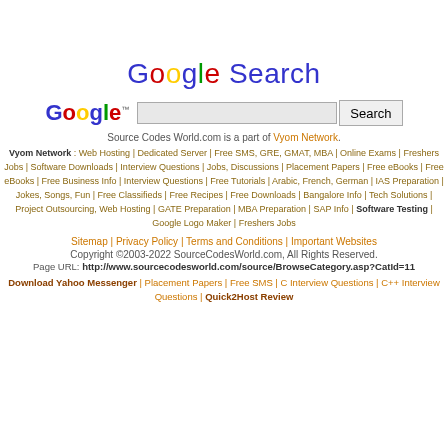Google Search
[Figure (logo): Google logo with trademark symbol and a search input box with Search button]
Source Codes World.com is a part of Vyom Network.
Vyom Network : Web Hosting | Dedicated Server | Free SMS, GRE, GMAT, MBA | Online Exams | Freshers Jobs | Software Downloads | Interview Questions | Jobs, Discussions | Placement Papers | Free eBooks | Free eBooks | Free Business Info | Interview Questions | Free Tutorials | Arabic, French, German | IAS Preparation | Jokes, Songs, Fun | Free Classifieds | Free Recipes | Free Downloads | Bangalore Info | Tech Solutions | Project Outsourcing, Web Hosting | GATE Preparation | MBA Preparation | SAP Info | Software Testing | Google Logo Maker | Freshers Jobs
Sitemap | Privacy Policy | Terms and Conditions | Important Websites
Copyright ©2003-2022 SourceCodesWorld.com, All Rights Reserved.
Page URL: http://www.sourcecodesworld.com/source/BrowseCategory.asp?CatId=11
Download Yahoo Messenger | Placement Papers | Free SMS | C Interview Questions | C++ Interview Questions | Quick2Host Review